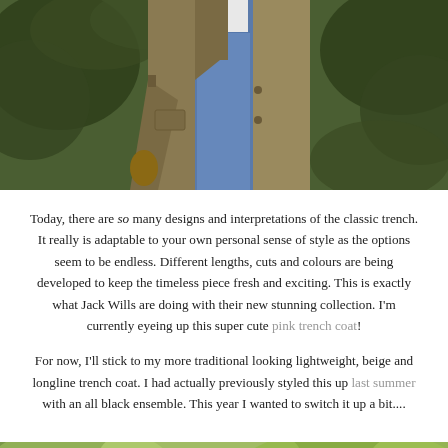[Figure (photo): Photo of a person wearing a long khaki/beige trench coat open over blue jeans and a white top, standing in front of green foliage. Only the torso and lower body are visible.]
Today, there are so many designs and interpretations of the classic trench. It really is adaptable to your own personal sense of style as the options seem to be endless. Different lengths, cuts and colours are being developed to keep the timeless piece fresh and exciting. This is exactly what Jack Wills are doing with their new stunning collection. I'm currently eyeing up this super cute pink trench coat!
For now, I'll stick to my more traditional looking lightweight, beige and longline trench coat. I had actually previously styled this up last summer with an all black ensemble. This year I wanted to switch it up a bit....
[Figure (photo): Bottom portion of a photo showing green trees and foliage in bright sunlight, partially cropped.]